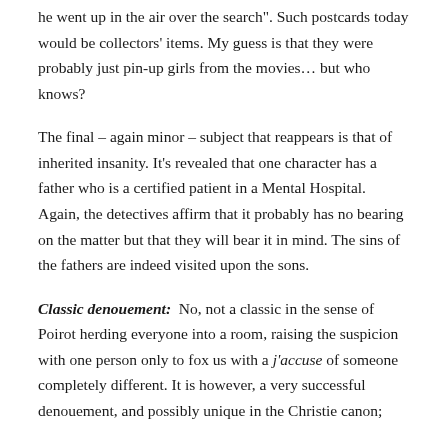he went up in the air over the search". Such postcards today would be collectors' items. My guess is that they were probably just pin-up girls from the movies… but who knows?
The final – again minor – subject that reappears is that of inherited insanity. It's revealed that one character has a father who is a certified patient in a Mental Hospital. Again, the detectives affirm that it probably has no bearing on the matter but that they will bear it in mind. The sins of the fathers are indeed visited upon the sons.
Classic denouement: No, not a classic in the sense of Poirot herding everyone into a room, raising the suspicion with one person only to fox us with a j'accuse of someone completely different. It is however, a very successful denouement, and possibly unique in the Christie canon;